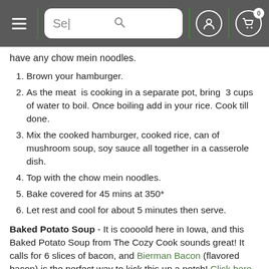Se| [search bar] [user icon] [cart icon 0]
have any chow mein noodles.
1. Brown your hamburger.
2. As the meat is cooking in a separate pot, bring 3 cups of water to boil. Once boiling add in your rice. Cook till done.
3. Mix the cooked hamburger, cooked rice, can of mushroom soup, soy sauce all together in a casserole dish.
4. Top with the chow mein noodles.
5. Bake covered for 45 mins at 350*
6. Let rest and cool for about 5 minutes then serve.
Baked Potato Soup - It is coooold here in Iowa, and this Baked Potato Soup from The Cozy Cook sounds great! It calls for 6 slices of bacon, and Bierman Bacon (flavored bacon) is the perfect way to kick this up a notch! Click here for the recipe.